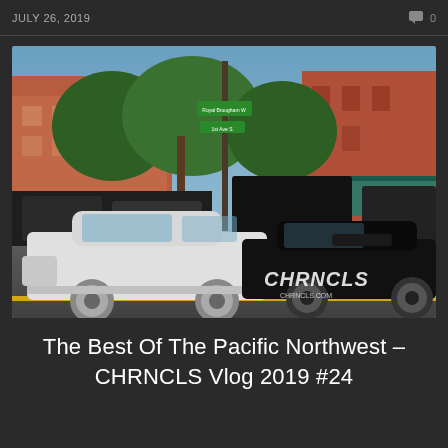JULY 26, 2019   0
[Figure (photo): Street photo of a white modified Honda/Acura Integra coupe and a black modified car stopped at an intersection in an urban Pacific Northwest setting. Trees, red brick buildings, street signs, and parked cars visible in the background. A CHRNCLS watermark logo is in the lower right corner.]
The Best Of The Pacific Northwest – CHRNCLS Vlog 2019 #24